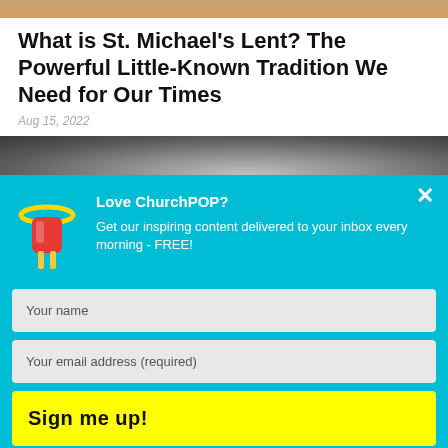[Figure (photo): Top image strip showing a colorful photograph banner]
What is St. Michael's Lent? The Powerful Little-Known Tradition We Need for Our Times
Aug 15, 2022
[Figure (photo): Black and white photograph of a person, partially visible]
[Figure (illustration): ChurchPOP popsicle mascot logo with halo, in cyan modal popup]
Love ChurchPOP? Get our inspiring content delivered to your inbox every morning - FREE!
Your name
Your email address (required)
Sign me up!